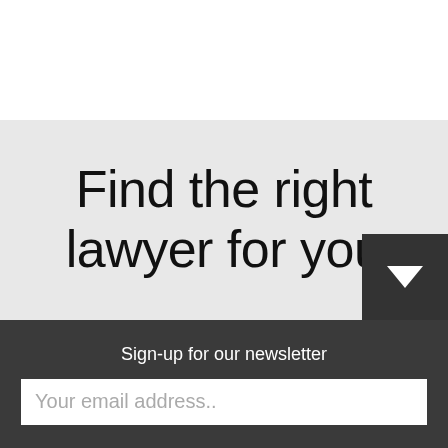Find the right lawyer for you
Sign-up for our newsletter
Your email address..
Subscribe